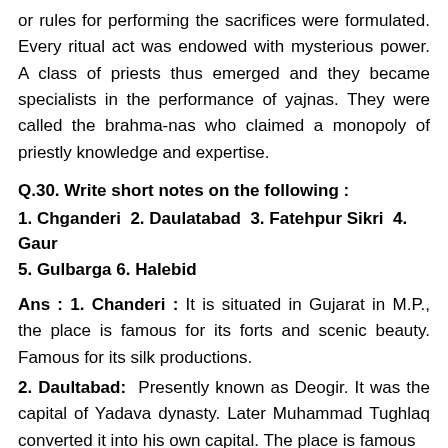or rules for performing the sacrifices were formulated. Every ritual act was endowed with mysterious power. A class of priests thus emerged and they became specialists in the performance of yajnas. They were called the brahma-nas who claimed a monopoly of priestly knowledge and expertise.
Q.30. Write short notes on the following :
1. Chganderi  2. Daulatabad  3. Fatehpur Sikri  4. Gaur  5. Gulbarga 6. Halebid
Ans : 1. Chanderi : It is situated in Gujarat in M.P., the place is famous for its forts and scenic beauty. Famous for its silk productions.
2. Daultabad:  Presently known as Deogir. It was the capital of Yadava dynasty. Later Muhammad Tughlaq converted it into his own capital. The place is famous